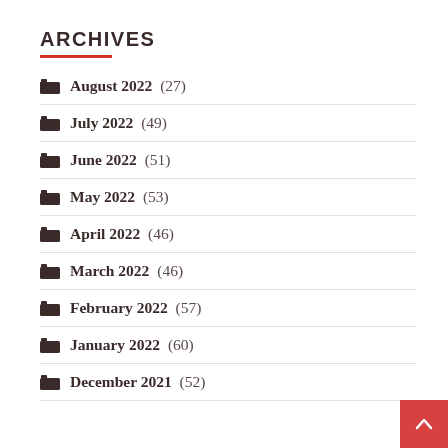ARCHIVES
August 2022 (27)
July 2022 (49)
June 2022 (51)
May 2022 (53)
April 2022 (46)
March 2022 (46)
February 2022 (57)
January 2022 (60)
December 2021 (52)